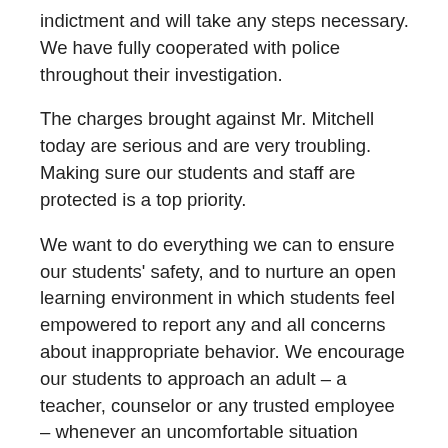indictment and will take any steps necessary. We have fully cooperated with police throughout their investigation.
The charges brought against Mr. Mitchell today are serious and are very troubling. Making sure our students and staff are protected is a top priority.
We want to do everything we can to ensure our students' safety, and to nurture an open learning environment in which students feel empowered to report any and all concerns about inappropriate behavior. We encourage our students to approach an adult – a teacher, counselor or any trusted employee – whenever an uncomfortable situation arises. It is our policy to immediately report any suspicious activity to the proper authorities.
We will have counselors, psychologists, nurses and